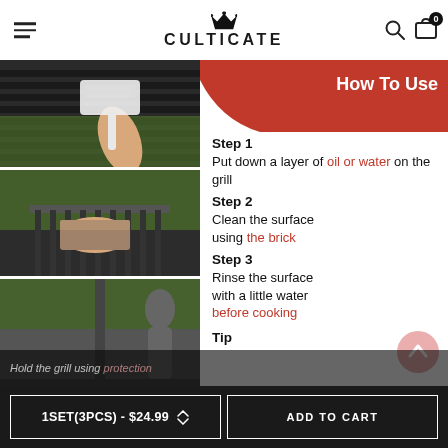CULTICATE
[Figure (photo): Three stacked photos on the left: top shows a hand holding a white grill brush over a dark grill; middle shows a hand pressing a brown cleaning brick on grill grates; bottom shows a person rinsing a grill outdoors.]
How To Use
Step 1
Put down a layer of oil or water on the grill
Step 2
Clean the surface using the brick
Step 3
Rinse the surface with a little water before cooking
Tip
Hold the grill using protection
1SET(3PCS) - $24.99    ADD TO CART